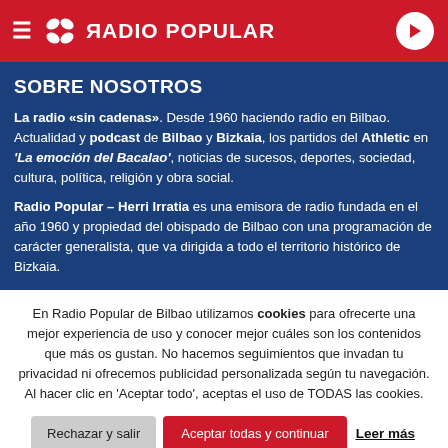RADIO POPULAR
SOBRE NOSOTROS
La radio «sin cadenas». Desde 1960 haciendo radio en Bilbao. Actualidad y podcast de Bilbao y Bizkaia, los partidos del Athletic en 'La emoción del Bacalao', noticias de sucesos, deportes, sociedad, cultura, política, religión y obra social.
Radio Popular – Herri Irratia es una emisora de radio fundada en el año 1960 y propiedad del obispado de Bilbao con una programación de carácter generalista, que va dirigida a todo el territorio histórico de Bizkaia.
En Radio Popular de Bilbao utilizamos cookies para ofrecerte una mejor experiencia de uso y conocer mejor cuáles son los contenidos que más os gustan. No hacemos seguimientos que invadan tu privacidad ni ofrecemos publicidad personalizada según tu navegación. Al hacer clic en 'Aceptar todo', aceptas el uso de TODAS las cookies.
Rechazar y salir | Aceptar todas y continuar | Leer más